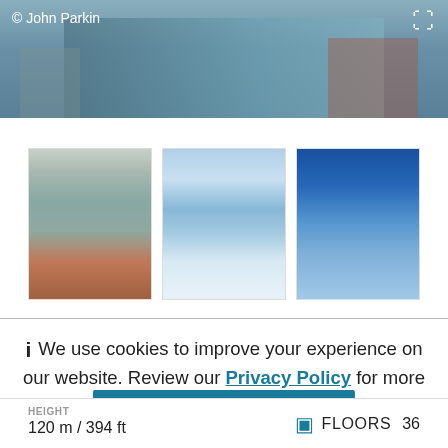[Figure (photo): Top aerial/street photo of a tall glass skyscraper under construction or completed, with photo credit '© John Parkin' and expand icon in top right corner]
[Figure (photo): Three thumbnail photos of a tall cylindrical glass tower: left shows building under construction with crane, center shows completed building against blue/cloudy sky, right shows building against deep blue sky]
We use cookies to improve your experience on our website. Review our Privacy Policy for more information.
✓ Allow cookies
HEIGHT
120 m / 394 ft
FLOORS 36